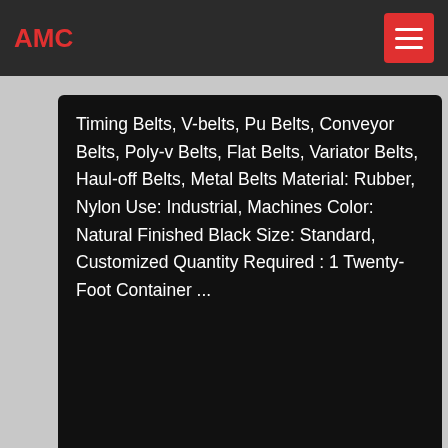AMC
Timing Belts, V-belts, Pu Belts, Conveyor Belts, Poly-v Belts, Flat Belts, Variator Belts, Haul-off Belts, Metal Belts Material: Rubber, Nylon Use: Industrial, Machines Color: Natural Finished Black Size: Standard, Customized Quantity Required : 1 Twenty-Foot Container ...
China Conveyor, Conveyor Manufacturers, Suppliers, Price ...
China Conveyor manufacturers - Select 2022 high quality Conveyor products in best price from certified Chinese Transmission, Conveyor System